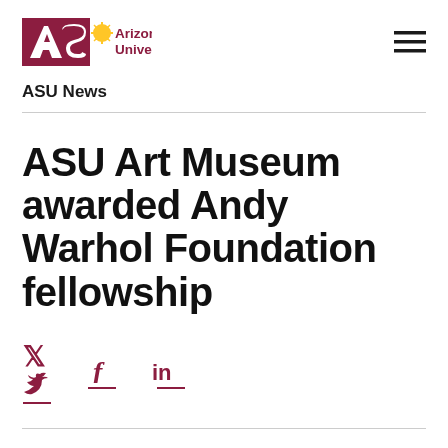[Figure (logo): ASU Arizona State University logo with maroon block letters and gold sunburst icon]
ASU News
ASU Art Museum awarded Andy Warhol Foundation fellowship
August 16, 2021